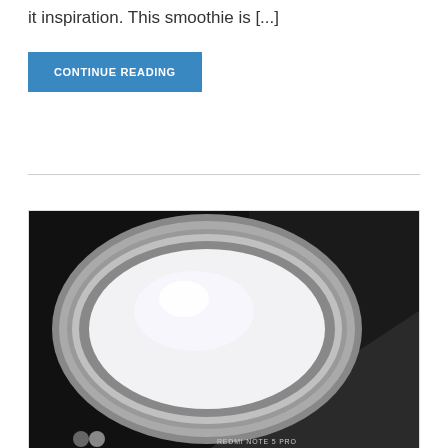it inspiration. This smoothie is [...]
CONTINUE READING
[Figure (photo): Top-down view of a glass jar filled with white liquid (smoothie or milk) on a dark background. Camera watermark reads REDMI NOTE 5 PRO at bottom.]